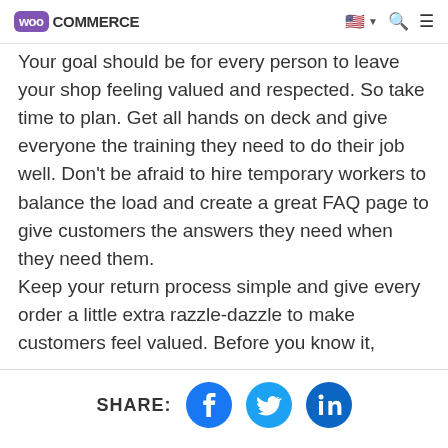WooCommerce [logo with nav: flag, search, menu]
Your goal should be for every person to leave your shop feeling valued and respected. So take time to plan. Get all hands on deck and give everyone the training they need to do their job well. Don’t be afraid to hire temporary workers to balance the load and create a great FAQ page to give customers the answers they need when they need them.
Keep your return process simple and give every order a little extra razzle-dazzle to make customers feel valued. Before you know it,
SHARE: [Facebook] [Twitter] [LinkedIn]